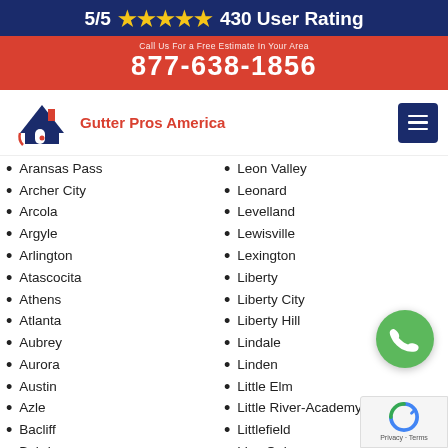5/5 ★★★★★ 430 User Rating
877-638-1856
[Figure (logo): Gutter Pros America logo with house/roof icon and red text]
Aransas Pass
Archer City
Arcola
Argyle
Arlington
Atascocita
Athens
Atlanta
Aubrey
Aurora
Austin
Azle
Bacliff
Baird
Leon Valley
Leonard
Levelland
Lewisville
Lexington
Liberty
Liberty City
Liberty Hill
Lindale
Linden
Little Elm
Little River-Academy
Littlefield
Live Oak